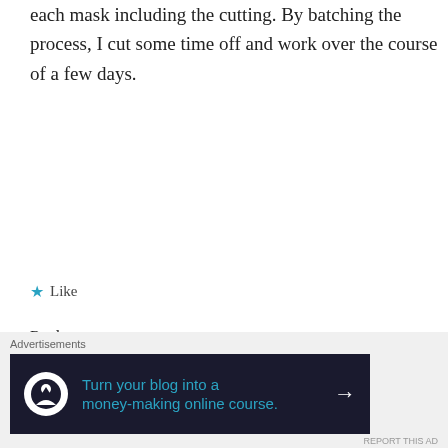each mask including the cutting. By batching the process, I cut some time off and work over the course of a few days.
Like
Reply
quietwatercraft says: October 26, 2020 at 10:18 am
Wow that's a lot of mask-making! I really must sort myself out and start making my own, this could be the kick up the bum I
Advertisements
[Figure (screenshot): Advertisement banner: dark navy background with circular white icon showing a person with a mountain/tree silhouette. Teal text reads 'Turn your blog into a money-making online course.' with a white right arrow.]